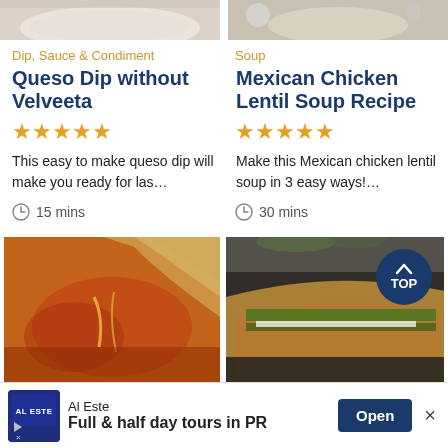[Figure (photo): Top partial image of a creamy dip (left) and soup with spoons (right) — partially visible at top of page]
Dip, Sauce & Condiment
Soup
Queso Dip without Velveeta
Mexican Chicken Lentil Soup Recipe
★★★★★
★★★★★
This easy to make queso dip will make you ready for las…
Make this Mexican chicken lentil soup in 3 easy ways!…
15 mins
30 mins
[Figure (photo): Queso dip with a tortilla chip being dipped into orange cheesy sauce]
[Figure (photo): Sandwich or pastry cut open showing green vegetables and white cheese filling, with TOP badge overlay]
Al Este
Full & half day tours in PR
Open
×